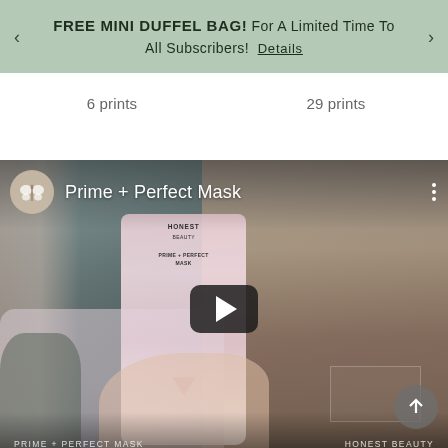FREE MINI DUFFEL BAG! For A Limited Time To All Subscribers! Details
6 prints
29 prints
[Figure (screenshot): YouTube-style video thumbnail/player showing a woman holding an Honest Beauty Prime + Perfect Mask product tube. The video has a play button in the center, the channel logo (butterfly icon) and title 'Prime + Perfect Mask' at the top left, a three-dot menu icon at top right, a scroll-up circular button at bottom right, and bottom labels reading 'PRIME + PERFECT MASK' on the left and 'HONEST BEAUTY' on the right.]